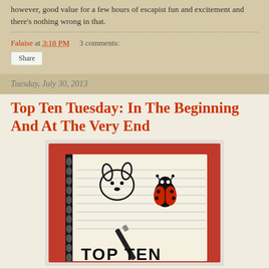however, good value for a few hours of escapist fun and excitement and there's nothing wrong in that.
Falaise at 3:18 PM   3 comments:
Share
Tuesday, July 30, 2013
Top Ten Tuesday: In The Beginning And At The Very End
[Figure (photo): Photo of a spiral notebook with doodles of a cartoon dog face and a ladybug, along with a pen, and the text 'TOP TEN' written in block letters at the bottom.]